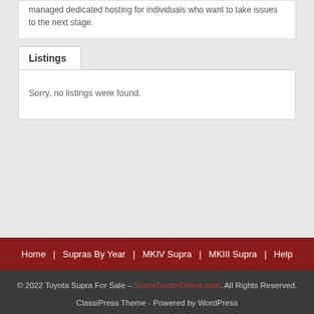managed dedicated hosting for individuals who want to take issues to the next stage.
Listings
Sorry, no listings were found.
Home | Supras By Year | MKIV Supra | MKIII Supra | Help
© 2022 Toyota Supra For Sale – SupraTraderOnline.com. All Rights Reserved.
ClassiPress Theme - Powered by WordPress